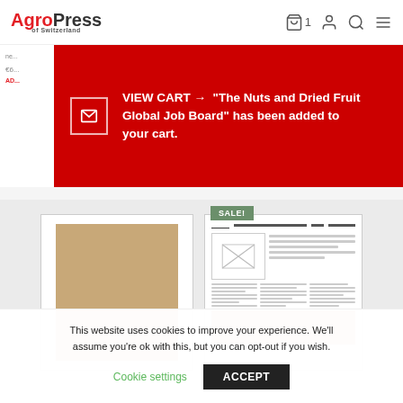AgroPress of Switzerland
VIEW CART → "The Nuts and Dried Fruit Global Job Board" has been added to your cart.
[Figure (illustration): Two product cards shown side by side. Left card shows a plain tan/brown cover. Right card has a 'SALE!' badge and shows a miniature newspaper/magazine layout with image placeholder, text lines, and a tan strip at the bottom.]
This website uses cookies to improve your experience. We'll assume you're ok with this, but you can opt-out if you wish.
Cookie settings   ACCEPT